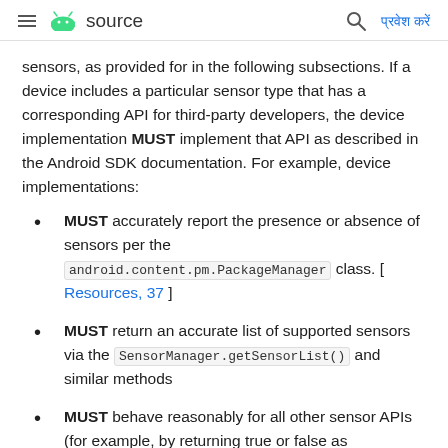source
sensors, as provided for in the following subsections. If a device includes a particular sensor type that has a corresponding API for third-party developers, the device implementation MUST implement that API as described in the Android SDK documentation. For example, device implementations:
MUST accurately report the presence or absence of sensors per the android.content.pm.PackageManager class. [ Resources, 37 ]
MUST return an accurate list of supported sensors via the SensorManager.getSensorList() and similar methods
MUST behave reasonably for all other sensor APIs (for example, by returning true or false as appropriate